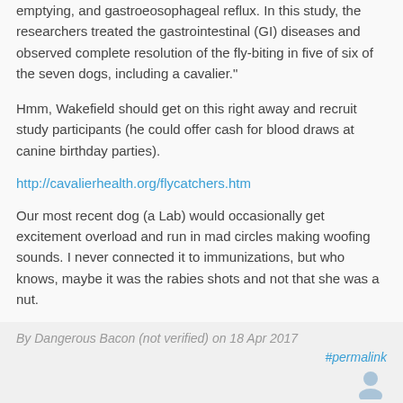emptying, and gastroeosophageal reflux. In this study, the researchers treated the gastrointestinal (GI) diseases and observed complete resolution of the fly-biting in five of six of the seven dogs, including a cavalier."
Hmm, Wakefield should get on this right away and recruit study participants (he could offer cash for blood draws at canine birthday parties).
http://cavalierhealth.org/flycatchers.htm
Our most recent dog (a Lab) would occasionally get excitement overload and run in mad circles making woofing sounds. I never connected it to immunizations, but who knows, maybe it was the rabies shots and not that she was a nut.
Log in to post comments
By Dangerous Bacon (not verified) on 18 Apr 2017
#permalink